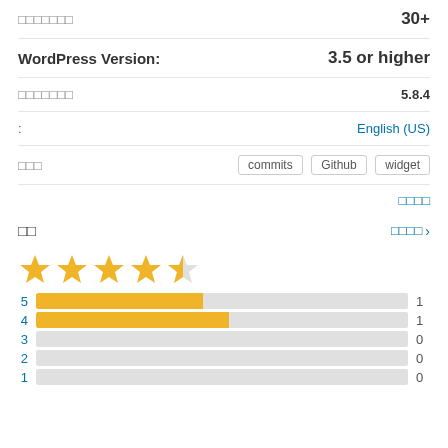30+
WordPress Version: 3.5 or higher
5.8.4
: English (US)
commits  Github  widget
더 보기
리뷰
[Figure (other): Star rating: 4.5 out of 5 stars]
[Figure (bar-chart): Rating distribution]